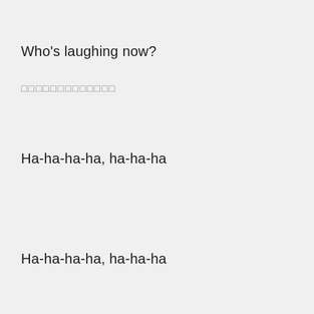Who's laughing now?
□□□□□□□□□□□□□
Ha-ha-ha-ha, ha-ha-ha
Ha-ha-ha-ha, ha-ha-ha